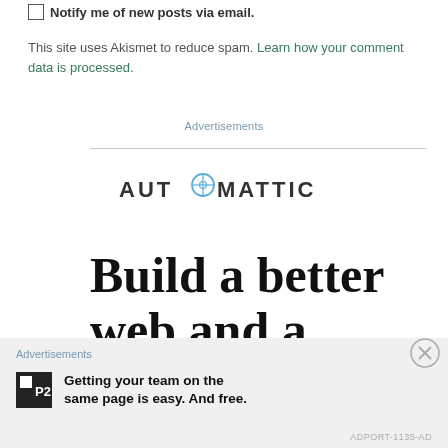Notify me of new posts via email.
This site uses Akismet to reduce spam. Learn how your comment data is processed.
Advertisements
[Figure (logo): Automattic logo in dark grey sans-serif uppercase lettering with a circular compass icon replacing the O in AUTOMATTIC]
Build a better web and a better world
Advertisements
[Figure (infographic): P2 advertisement banner: black square P2 logo icon followed by bold text: Getting your team on the same page is easy. And free.]